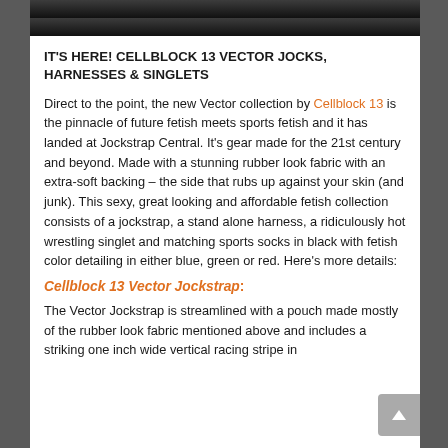[Figure (photo): Dark image strip at the top, partial view of a product photo]
IT'S HERE! CELLBLOCK 13 VECTOR JOCKS, HARNESSES & SINGLETS
Direct to the point, the new Vector collection by Cellblock 13 is the pinnacle of future fetish meets sports fetish and it has landed at Jockstrap Central. It's gear made for the 21st century and beyond. Made with a stunning rubber look fabric with an extra-soft backing – the side that rubs up against your skin (and junk). This sexy, great looking and affordable fetish collection consists of a jockstrap, a stand alone harness, a ridiculously hot wrestling singlet and matching sports socks in black with fetish color detailing in either blue, green or red. Here's more details:
Cellblock 13 Vector Jockstrap:
The Vector Jockstrap is streamlined with a pouch made mostly of the rubber look fabric mentioned above and includes a striking one inch wide vertical racing stripe in